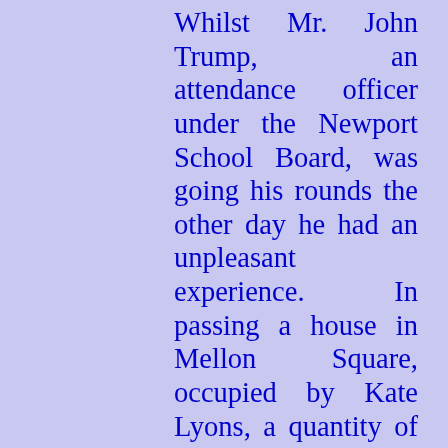Whilst Mr. John Trump, an attendance officer under the Newport School Board, was going his rounds the other day he had an unpleasant experience. In passing a house in Mellon Square, occupied by Kate Lyons, a quantity of tea slops was thrown from an upper window. The tea leaves found a resting place on the officer's cap, and some of the liquid trickled down his neck and back, much to his discomfort. The result was a summons for assault, to which Mrs. Lyons appeared at the